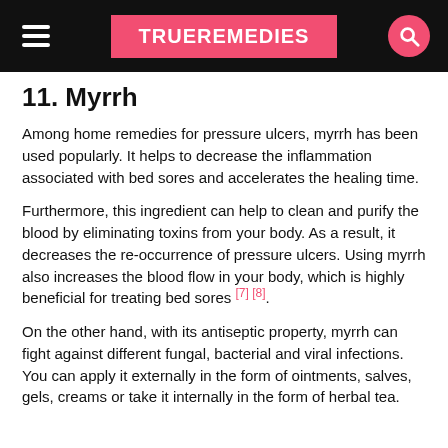TRUEREMEDIES
11. Myrrh
Among home remedies for pressure ulcers, myrrh has been used popularly. It helps to decrease the inflammation associated with bed sores and accelerates the healing time.
Furthermore, this ingredient can help to clean and purify the blood by eliminating toxins from your body. As a result, it decreases the re-occurrence of pressure ulcers. Using myrrh also increases the blood flow in your body, which is highly beneficial for treating bed sores [7] [8].
On the other hand, with its antiseptic property, myrrh can fight against different fungal, bacterial and viral infections. You can apply it externally in the form of ointments, salves, gels, creams or take it internally in the form of herbal tea.